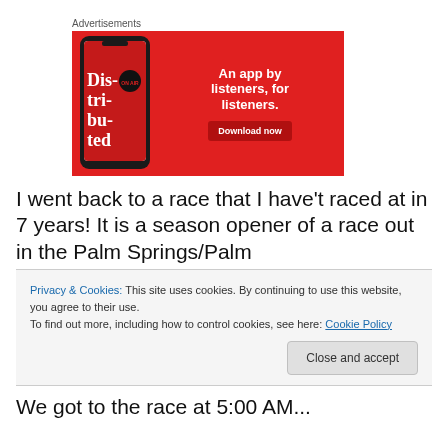Advertisements
[Figure (illustration): Advertisement banner with red background showing a smartphone displaying 'Distributed' podcast app, with text 'An app by listeners, for listeners.' and a 'Download now' button.]
I went back to a race that I have't raced at in 7 years! It is a season opener of a race out in the Palm Springs/Palm
Privacy & Cookies: This site uses cookies. By continuing to use this website, you agree to their use.
To find out more, including how to control cookies, see here: Cookie Policy
We got to the race at 5:00 AM...
Close and accept